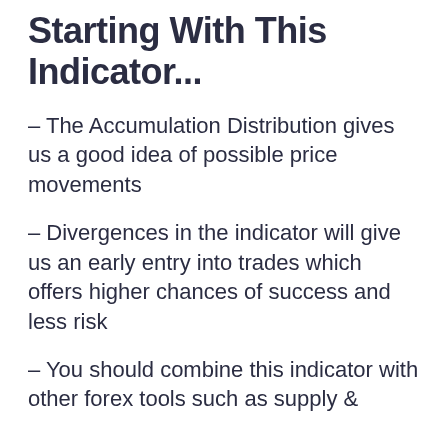Starting With This Indicator...
– The Accumulation Distribution gives us a good idea of possible price movements
– Divergences in the indicator will give us an early entry into trades which offers higher chances of success and less risk
– You should combine this indicator with other forex tools such as supply &